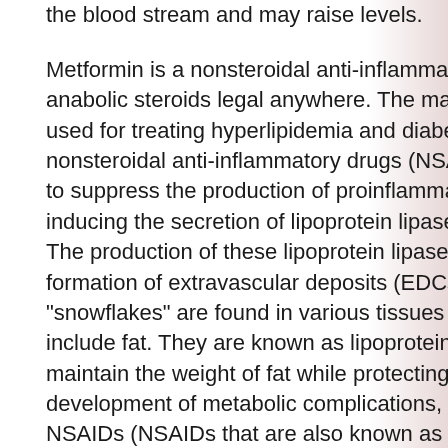the blood stream and may raise levels.
Metformin is a nonsteroidal anti-inflammatory drug, are anabolic steroids legal anywhere. The main classes of agents used for treating hyperlipidemia and diabetes are nonsteroidal anti-inflammatory drugs (NSAIDs). NSAIDs act to suppress the production of proinflammatory lipids by inducing the secretion of lipoprotein lipase, trenavar effetti. The production of these lipoprotein lipases can lead to the formation of extravascular deposits (EDCs). These "snowflakes" are found in various tissues of the body and include fat. They are known as lipoproteins and act to maintain the weight of fat while protecting against the development of metabolic complications, chemyo mk-677. NSAIDs (NSAIDs that are also known as anti-depressants) are used as therapy for inflammatory conditions including hyperlipidemia, rheumatoid arthritis, asthma,